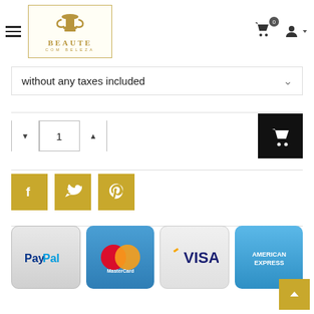[Figure (logo): Beaute com Beleza logo with decorative emblem and gold text]
without any taxes included
[Figure (infographic): Quantity selector with minus, 1, plus buttons and add-to-cart black button with cart icon]
[Figure (infographic): Social share buttons: Facebook, Twitter, Pinterest in gold/yellow]
[Figure (infographic): Payment method icons: PayPal, MasterCard, VISA, American Express]